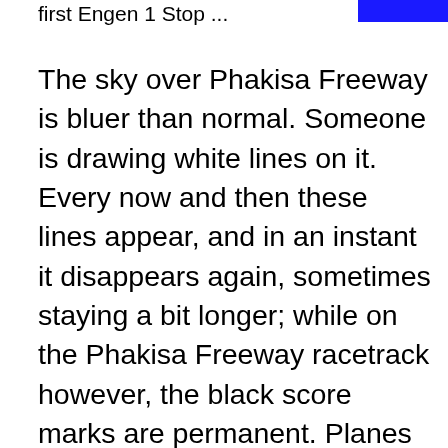first Engen 1 Stop ...
The sky over Phakisa Freeway is bluer than normal. Someone is drawing white lines on it. Every now and then these lines appear, and in an instant it disappears again, sometimes staying a bit longer; while on the Phakisa Freeway racetrack however, the black score marks are permanent. Planes almost 40, 000 feet up create these vapour trails, my vivid imagination fails to accept that. These so called flying machines mysteriously blend into the blue backdrop, making me believe that somebody is drawing these white